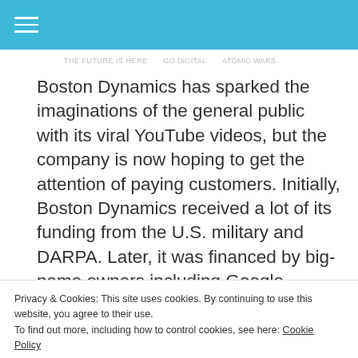Boston Dynamics has sparked the imaginations of the general public with its viral YouTube videos, but the company is now hoping to get the attention of paying customers. Initially, Boston Dynamics received a lot of its funding from the U.S. military and DARPA. Later, it was financed by big-name owners including Google, SoftBank and most [...]
READ MORE
Privacy & Cookies: This site uses cookies. By continuing to use this website, you agree to their use.
To find out more, including how to control cookies, see here: Cookie Policy
Close and accept
TO NUCLEAR